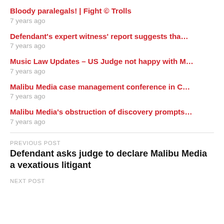Bloody paralegals! | Fight © Trolls
7 years ago
Defendant's expert witness' report suggests tha…
7 years ago
Music Law Updates - US Judge not happy with M…
7 years ago
Malibu Media case management conference in C…
7 years ago
Malibu Media's obstruction of discovery prompts…
7 years ago
PREVIOUS POST
Defendant asks judge to declare Malibu Media a vexatious litigant
NEXT POST